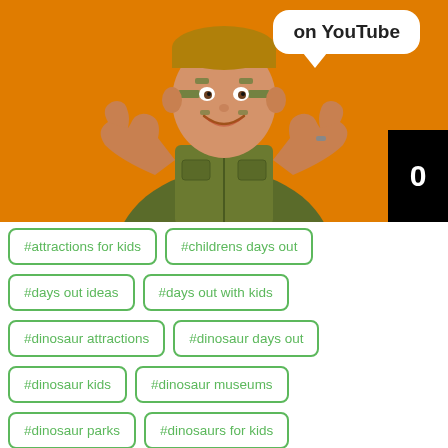[Figure (screenshot): YouTube thumbnail showing a person in a green safari/military vest with face paint giving two thumbs up against an orange background, with a white speech bubble saying 'on YouTube' and a black counter badge showing '0' in the bottom right corner.]
#attractions for kids
#childrens days out
#days out ideas
#days out with kids
#dinosaur attractions
#dinosaur days out
#dinosaur kids
#dinosaur museums
#dinosaur parks
#dinosaurs for kids